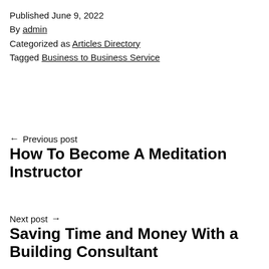Published June 9, 2022
By admin
Categorized as Articles Directory
Tagged Business to Business Service
← Previous post
How To Become A Meditation Instructor
Next post →
Saving Time and Money With a Building Consultant